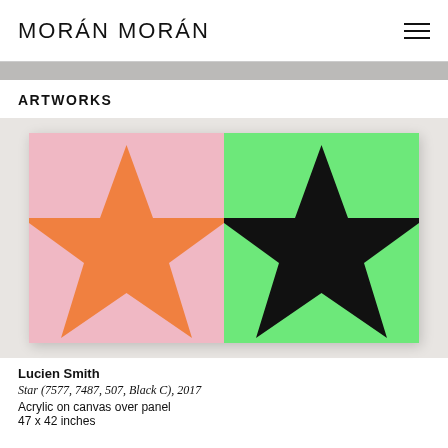MORÁN MORÁN
ARTWORKS
[Figure (photo): Photograph of two-panel painting by Lucien Smith. Left panel: pink background with large orange five-pointed star. Right panel: green background with large black five-pointed star.]
Lucien Smith
Star (7577, 7487, 507, Black C), 2017
Acrylic on canvas over panel
47 x 42 inches